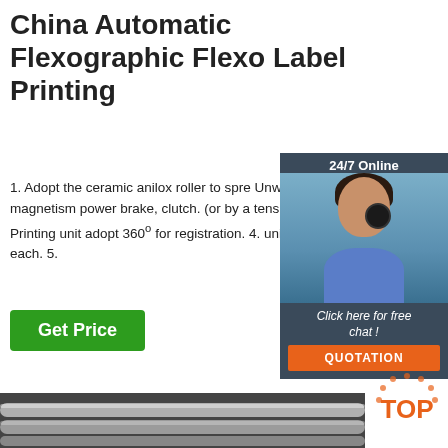China Automatic Flexographic Flexo Label Printing
1. Adopt the ceramic anilox roller to spre... Unwinding and rewinding are controlled magnetism power brake, clutch. (or by a tension controller of Mitsubishi, made in Printing unit adopt 360º for registration. 4. unit have one infrared to dry the device each. 5.
[Figure (photo): Customer service woman wearing headset with 24/7 Online chat widget, dark background panel with 'Click here for free chat!' text and orange QUOTATION button]
Click here for free chat !
QUOTATION
Get Price
[Figure (photo): Bottom portion showing industrial metal rollers/cylinders on dark background with orange TOP badge in corner]